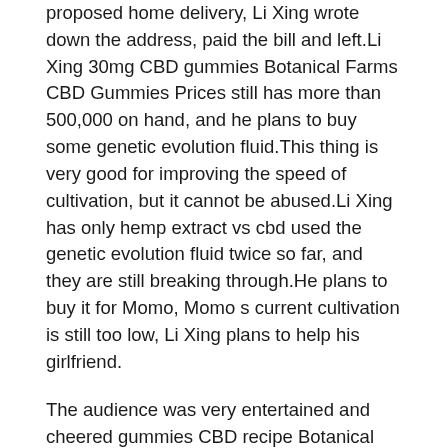proposed home delivery, Li Xing wrote down the address, paid the bill and left.Li Xing 30mg CBD gummies Botanical Farms CBD Gummies Prices still has more than 500,000 on hand, and he plans to buy some genetic evolution fluid.This thing is very good for improving the speed of cultivation, but it cannot be abused.Li Xing has only hemp extract vs cbd used the genetic evolution fluid twice so far, and they are still breaking through.He plans to buy it for Momo, Momo s current cultivation is still too low, Li Xing plans to help his girlfriend.
The audience was very entertained and cheered gummies CBD recipe Botanical Farms CBD Gummies Prices for the two of them.Ji Yan frowned, as if she didn t like this kind of cheering.Bai Bingqing s face is not very good looking, she feels that she is being despised, almost in sync, the two rushed forward at the same time, the two weapons collided, sparks flew out, and between breaths, the two had collided dozens of times.After another collision, the two chose to retreat at the same time, and Bai Bingqing gently raised the pure white sword in his hand and stabbed it forward.Bai Bingqing s swordsmanship is mellow and natural, and her